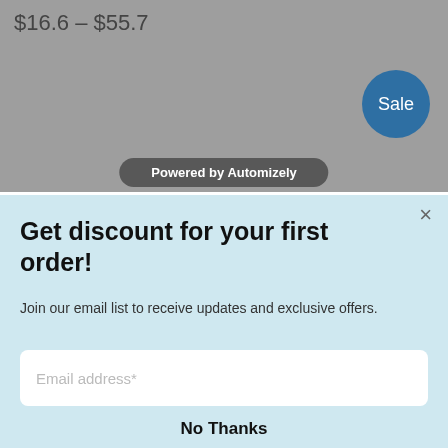$16.6 – $55.7
[Figure (other): Sale badge circle in blue with white text 'Sale']
Powered by Automizely
Get discount for your first order!
Join our email list to receive updates and exclusive offers.
Email address*
Subscribe
No Thanks